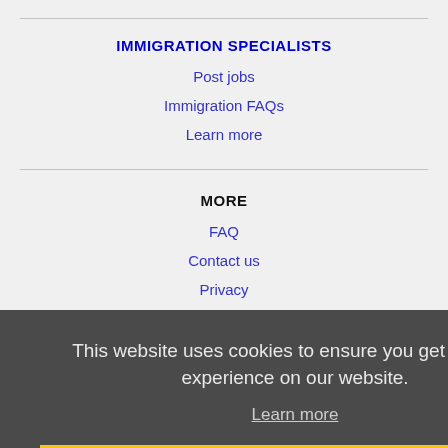IMMIGRATION SPECIALISTS
Post jobs
Immigration FAQs
Learn more
MORE
FAQ
Contact us
This website uses cookies to ensure you get the best experience on our website.
Learn more
Got it!
NEARBY CITIES
Austin, TX Jobs
Cedar Park, TX Jobs